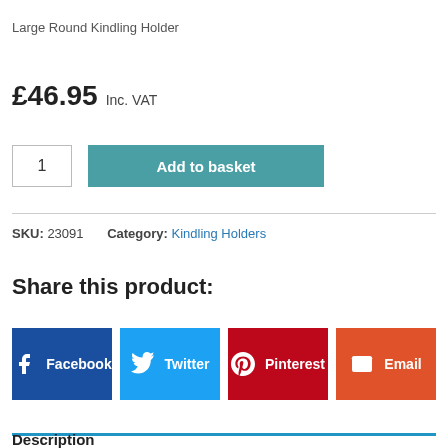Large Round Kindling Holder
£46.95 Inc. VAT
1   Add to basket
SKU: 23091   Category: Kindling Holders
Share this product:
[Figure (other): Social share buttons: Facebook, Twitter, Pinterest, Email]
Description